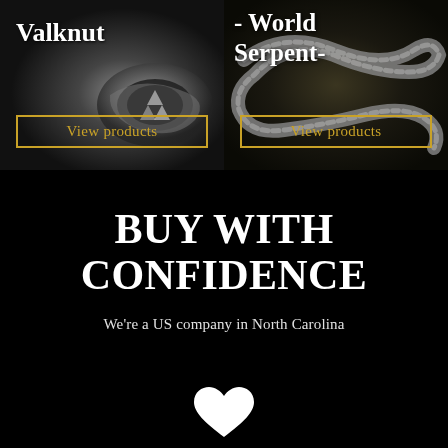[Figure (photo): Valknut silver ring on dark rocky background with 'View products' button overlay]
[Figure (photo): World Serpent bracelet on mossy background with 'View products' button overlay]
BUY WITH CONFIDENCE
We're a US company in North Carolina
[Figure (illustration): White heart icon]